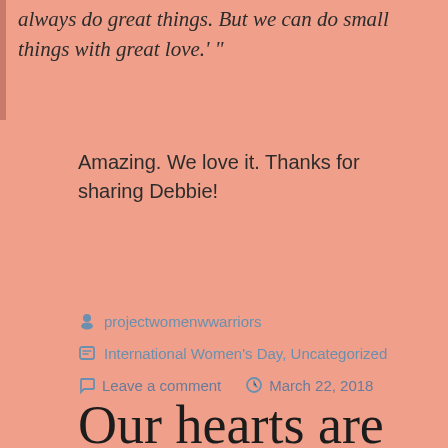always do great things. But we can do small things with great love.' "
Amazing. We love it. Thanks for sharing Debbie!
projectwomenwwarriors
International Women's Day, Uncategorized
Leave a comment   March 22, 2018
Our hearts are smiling because of Michelle's chosen #WomenWarrior...